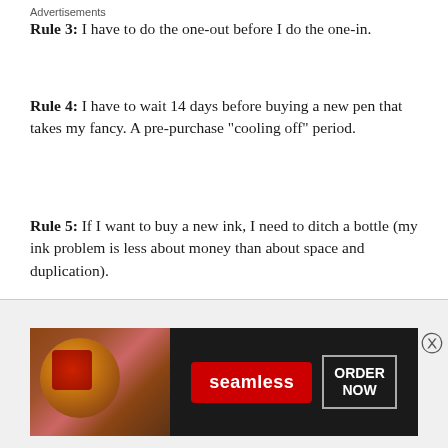Rule 3: I have to do the one-out before I do the one-in.
Rule 4: I have to wait 14 days before buying a new pen that takes my fancy. A pre-purchase “cooling off” period.
Rule 5: If I want to buy a new ink, I need to ditch a bottle (my ink problem is less about money than about space and duplication).
Hopefully these five rules will be easy enough to stick to — especially if I can cut down my Instagram exposure.
[Figure (other): Seamless food delivery advertisement banner with pizza image, Seamless logo, and ORDER NOW button]
Advertisements